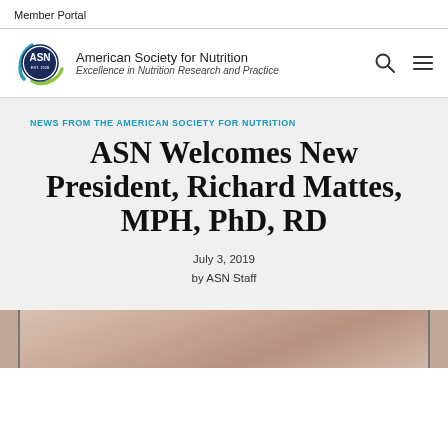Member Portal
[Figure (logo): American Society for Nutrition (ASN) logo with teal/green arc and text: 'American Society for Nutrition – Excellence in Nutrition Research and Practice']
NEWS FROM THE AMERICAN SOCIETY FOR NUTRITION
ASN Welcomes New President, Richard Mattes, MPH, PhD, RD
July 3, 2019
by ASN Staff
[Figure (photo): Partial photograph visible at the bottom of the page, showing a blurred background scene]